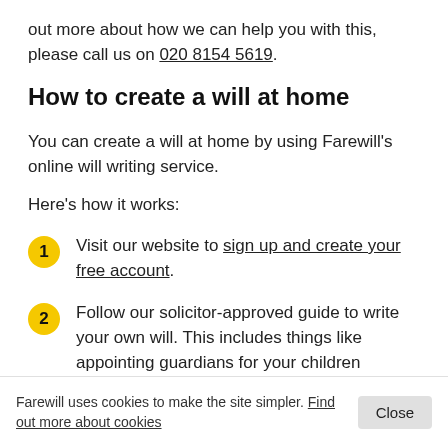out more about how we can help you with this, please call us on 020 8154 5619.
How to create a will at home
You can create a will at home by using Farewill's online will writing service.
Here's how it works:
Visit our website to sign up and create your free account.
Follow our solicitor-approved guide to write your own will. This includes things like appointing guardians for your children
Farewill uses cookies to make the site simpler. Find out more about cookies